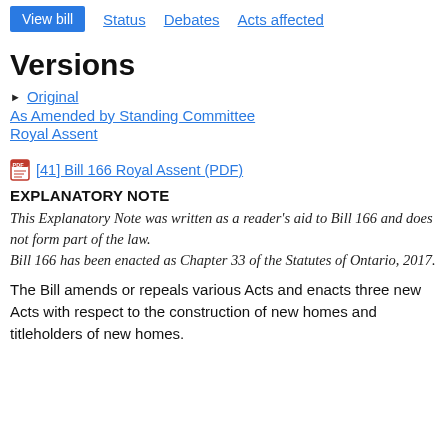View bill  Status  Debates  Acts affected
Versions
Original
As Amended by Standing Committee
Royal Assent
[41] Bill 166 Royal Assent (PDF)
EXPLANATORY NOTE
This Explanatory Note was written as a reader's aid to Bill 166 and does not form part of the law.
Bill 166 has been enacted as Chapter 33 of the Statutes of Ontario, 2017.
The Bill amends or repeals various Acts and enacts three new Acts with respect to the construction of new homes and titleholders of new homes.